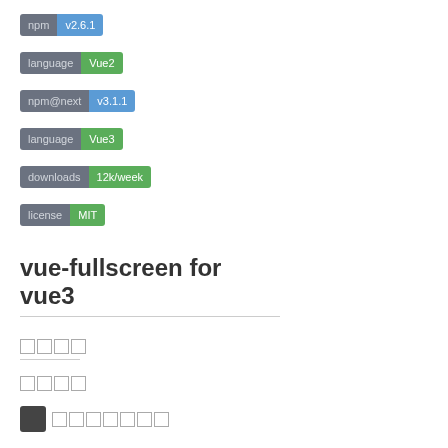[Figure (infographic): Badge showing npm v2.6.1 - gray left label 'npm', blue right label 'v2.6.1']
[Figure (infographic): Badge showing language Vue2 - gray left label 'language', green right label 'Vue2']
[Figure (infographic): Badge showing npm@next v3.1.1 - gray left label 'npm@next', blue right label 'v3.1.1']
[Figure (infographic): Badge showing language Vue3 - gray left label 'language', green right label 'Vue3']
[Figure (infographic): Badge showing downloads 12k/week - gray left label 'downloads', green right label '12k/week']
[Figure (infographic): Badge showing license MIT - gray left label 'license', green right label 'MIT']
vue-fullscreen for vue3
□□□□
□□□□
□□□□□□□